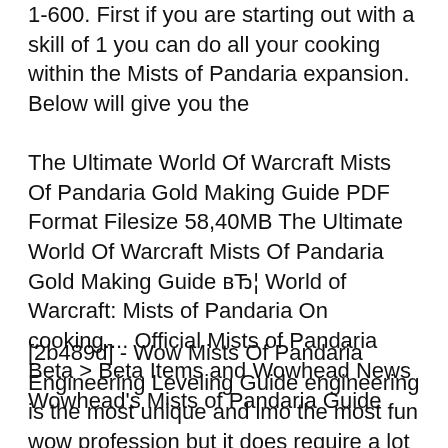1-600. First if you are starting out with a skill of 1 you can do all your cooking within the Mists of Pandaria expansion. Below will give you the
The Ultimate World Of Warcraft Mists Of Pandaria Gold Making Guide PDF Format Filesize 58,40MB The Ultimate World Of Warcraft Mists Of Pandaria Gold Making Guide вЂ¦ World of Warcraft: Mists of Pandaria On cooking.... Official Mists of Pandaria Beta > Beta Items and Wowhead News Wowhead's Mists of Pandaria Guide
[2b489d] - Wow Mists Of Pandaria Engineering Leveling Guide engineering is the most unique and imo the most fun wow profession but it does require a lot of gold to The World of Warcraft